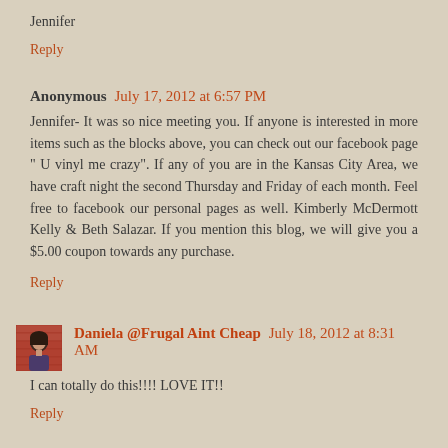Jennifer
Reply
Anonymous July 17, 2012 at 6:57 PM
Jennifer- It was so nice meeting you. If anyone is interested in more items such as the blocks above, you can check out our facebook page " U vinyl me crazy". If any of you are in the Kansas City Area, we have craft night the second Thursday and Friday of each month. Feel free to facebook our personal pages as well. Kimberly McDermott Kelly & Beth Salazar. If you mention this blog, we will give you a $5.00 coupon towards any purchase.
Reply
Daniela @Frugal Aint Cheap July 18, 2012 at 8:31 AM
I can totally do this!!!! LOVE IT!!
Reply